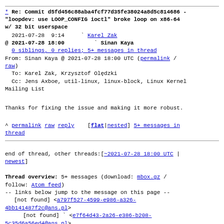* Re: Commit d5fd456c88aba4fcf77d35fe38024a8d5c814686 - "loopdev: use LOOP_CONFIG ioctl" broke loop on x86-64 w/ 32 bit userspace
2021-07-28  9:14   ` Karel Zak
@ 2021-07-28 18:00     ` Sinan Kaya
  0 siblings, 0 replies; 5+ messages in thread
From: Sinan Kaya @ 2021-07-28 18:00 UTC (permalink / raw)
  To: Karel Zak, Krzysztof Olędzki
  Cc: Jens Axboe, util-linux, linux-block, Linux Kernel Mailing List
Thanks for fixing the issue and making it more robust.
^ permalink raw reply   [flat|nested] 5+ messages in thread
end of thread, other threads:[~2021-07-28 18:00 UTC | newest]
Thread overview: 5+ messages (download: mbox.gz / follow: Atom feed)
-- links below jump to the message on this page --
     [not found] <a797f527-4599-e986-a326-4bb141487f2c@ans.pl>
        [not found] ` <e7f64d43-2a26-e386-b208-5c35d6a56ed4@ans.pl>